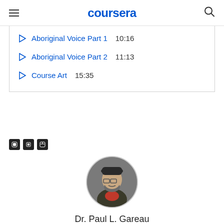coursera
Aboriginal Voice Part 1  10:16
Aboriginal Voice Part 2  11:13
Course Art  15:35
[Figure (other): Three small social media icon buttons]
[Figure (photo): Circular profile photo of Dr. Paul L. Gareau, a man with glasses and a beard wearing a dark jacket]
Dr. Paul L. Gareau
Assistant Professor